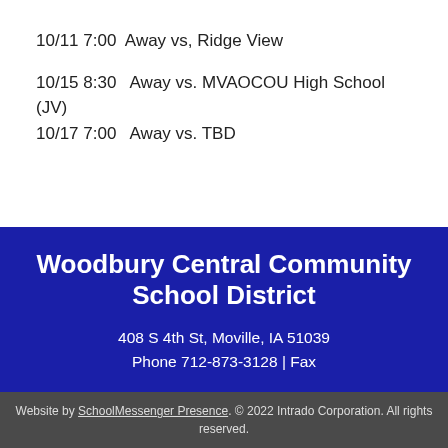10/11 7:00  Away vs, Ridge View
10/15 8:30   Away vs. MVAOCOU High School (JV)
10/17 7:00   Away vs. TBD
Woodbury Central Community School District
408 S 4th St, Moville, IA 51039
Phone 712-873-3128 | Fax
Website by SchoolMessenger Presence. © 2022 Intrado Corporation. All rights reserved.